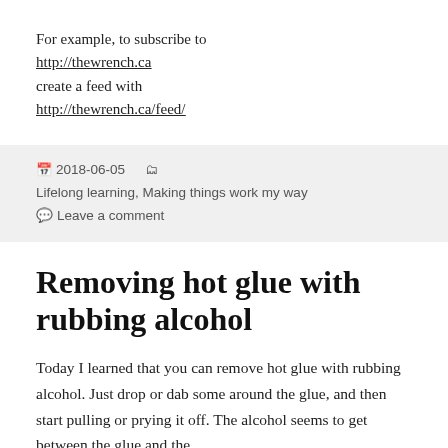For example, to subscribe to http://thewrench.ca create a feed with http://thewrench.ca/feed/
2018-06-05   Lifelong learning, Making things work my way   Leave a comment
Removing hot glue with rubbing alcohol
Today I learned that you can remove hot glue with rubbing alcohol. Just drop or dab some around the glue, and then start pulling or prying it off. The alcohol seems to get between the glue and the